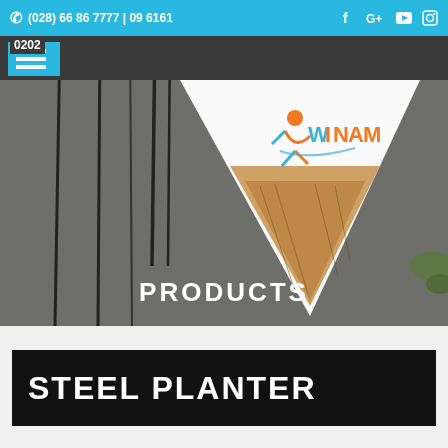(028) 66 86 7777 | 09 6161 0202
[Figure (screenshot): Website screenshot showing Winam company logo in a white inverted triangle on a dark hero image background with hanging plants/wires, overlaid with PRODUCTS text]
STEEL PLANTER